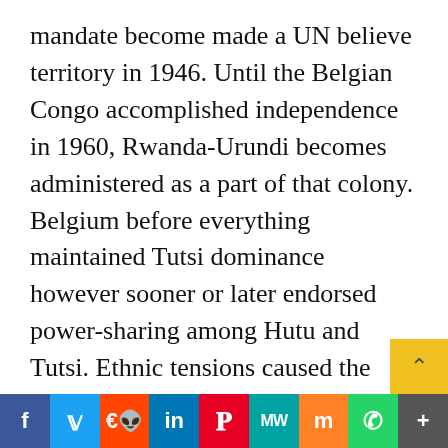mandate become made a UN believe territory in 1946. Until the Belgian Congo accomplished independence in 1960, Rwanda-Urundi becomes administered as a part of that colony. Belgium before everything maintained Tutsi dominance however sooner or later endorsed power-sharing among Hutu and Tutsi. Ethnic tensions caused the civil war, forcing many Tutsi into exile. When Rwanda has become the unbiased country of Rwanda on July 1, 1962, it becomes beneath neath Hutu rule.
Is Rwanda Safe?